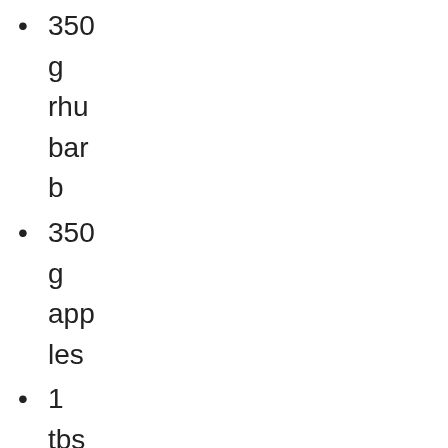350 g rhubarb
350 g apples
1 tbsp. natural sweetener